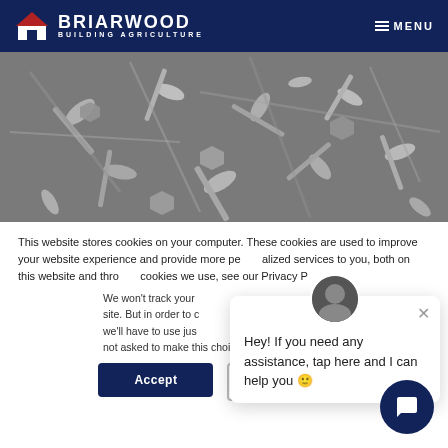[Figure (logo): Briarwood Building Agriculture logo with house icon on dark navy header]
[Figure (photo): Black and white close-up photo of metal screws, bolts, and fasteners piled together]
This website stores cookies on your computer. These cookies are used to improve your website experience and provide more personalized services to you, both on this website and through other media. To find out more about the cookies we use, see our Privacy P...
We won't track your... site. But in order to c... we'll have to use jus... not asked to make this choice again.
Hey! If you need any assistance, tap here and I can help you 🙂
Accept
Decline